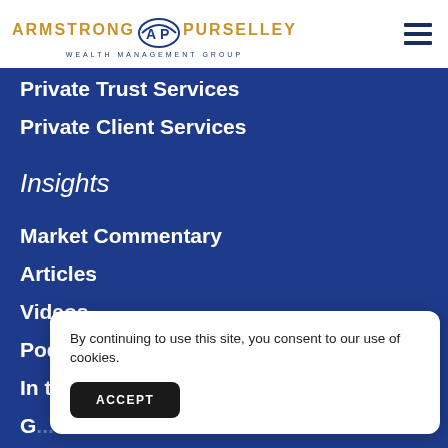[Figure (logo): Armstrong Purselley Wealth Management Group logo with AP shield icon, gold and navy blue text]
Private Trust Services
Private Client Services
Insights
Market Commentary
Articles
Videos
Podcasts
In the News
By continuing to use this site, you consent to our use of cookies.
ACCEPT